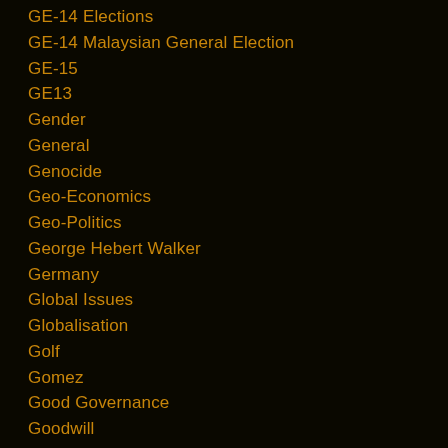GE-14 Elections
GE-14 Malaysian General Election
GE-15
GE13
Gender
General
Genocide
Geo-Economics
Geo-Politics
George Hebert Walker
Germany
Global Issues
Globalisation
Golf
Gomez
Good Governance
Goodwill
Govenance
Goverance
Governace
Governance